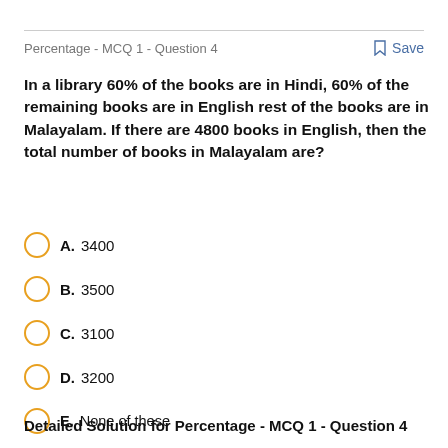Percentage - MCQ 1 - Question 4
In a library 60% of the books are in Hindi, 60% of the remaining books are in English rest of the books are in Malayalam. If there are 4800 books in English, then the total number of books in Malayalam are?
A. 3400
B. 3500
C. 3100
D. 3200
E. None of these
Detailed Solution for Percentage - MCQ 1 - Question 4